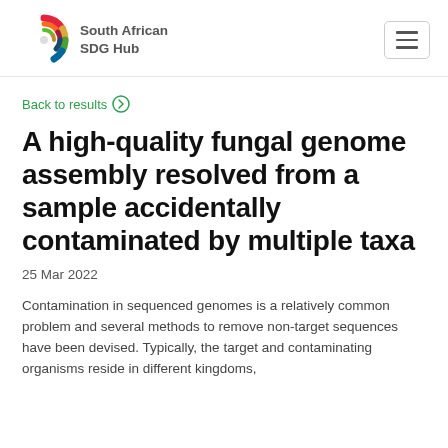South African SDG Hub
Back to results
A high-quality fungal genome assembly resolved from a sample accidentally contaminated by multiple taxa
25 Mar 2022
Contamination in sequenced genomes is a relatively common problem and several methods to remove non-target sequences have been devised. Typically, the target and contaminating organisms reside in different kingdoms,